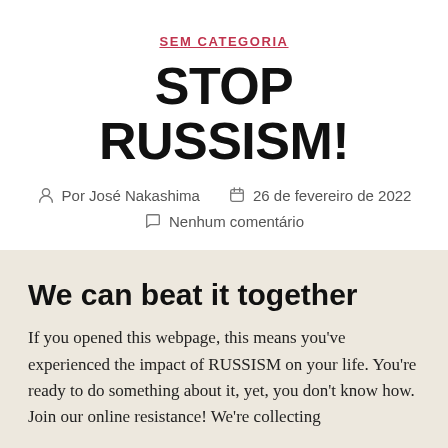SEM CATEGORIA
STOP RUSSISM!
Por José Nakashima   26 de fevereiro de 2022   Nenhum comentário
We can beat it together
If you opened this webpage, this means you've experienced the impact of RUSSISM on your life. You're ready to do something about it, yet, you don't know how. Join our online resistance! We're collecting